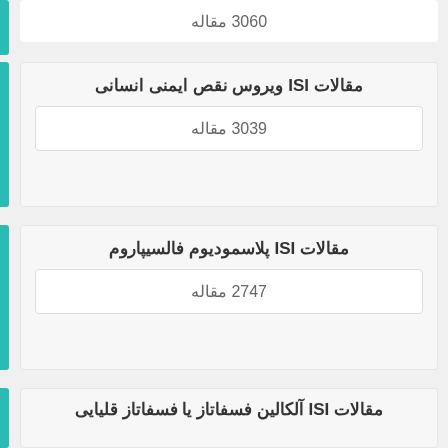3060 مقاله
مقالات ISI ویروس نقص ایمنی انسانی
3039 مقاله
مقالات ISI پلاسمودیوم فالسیپاروم
2747 مقاله
مقالات ISI آلکالین فسفاتاز یا فسفاتاز قلیایی
2653 مقاله
مقالات ISI سودوموناس آئروژینوزا